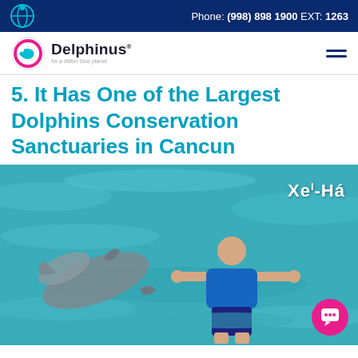Phone: (998) 898 1900 EXT: 1263
[Figure (logo): Delphinus logo with globe icon and tagline 'for a billion blue planet']
5. It Has One of the Largest Dolphins Conservation Sanctuaries in Cancun
[Figure (photo): Person in blue life vest swimming with a dolphin in turquoise water, with Xel-Ha logo watermark in the upper right corner. A pink chat button is in the lower right.]